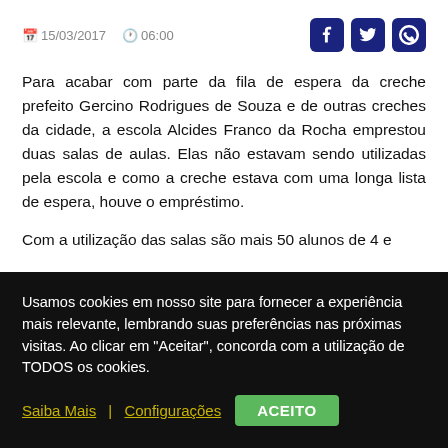15/03/2017  06:00
Para acabar com parte da fila de espera da creche prefeito Gercino Rodrigues de Souza e de outras creches da cidade, a escola Alcides Franco da Rocha emprestou duas salas de aulas. Elas não estavam sendo utilizadas pela escola e como a creche estava com uma longa lista de espera, houve o empréstimo.
Com a utilização das salas são mais 50 alunos de 4 e
Usamos cookies em nosso site para fornecer a experiência mais relevante, lembrando suas preferências nas próximas visitas. Ao clicar em "Aceitar", concorda com a utilização de TODOS os cookies.
Saiba Mais | Configurações  ACEITO